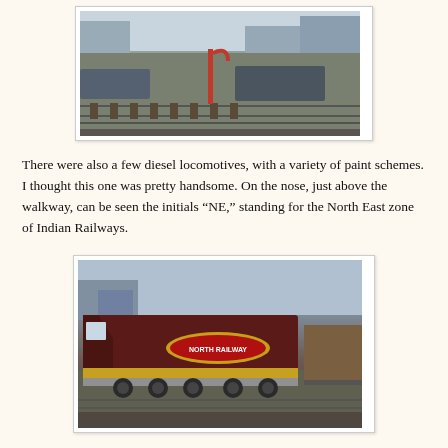[Figure (photo): A railway yard scene showing tracks and a red water crane/standpipe, with freight wagons and buildings visible in the background. Black and white or muted color photograph.]
There were also a few diesel locomotives, with a variety of paint schemes. I thought this one was pretty handsome. On the nose, just above the walkway, can be seen the initials “NE,” standing for the North East zone of Indian Railways.
[Figure (photo): A diesel locomotive in dark maroon/red livery with a yellow stripe and an oval badge reading 'NORTH RAILWAY' on its side, photographed at a railway yard. The nose of the locomotive is visible on the left, and freight cars are visible to the right.]